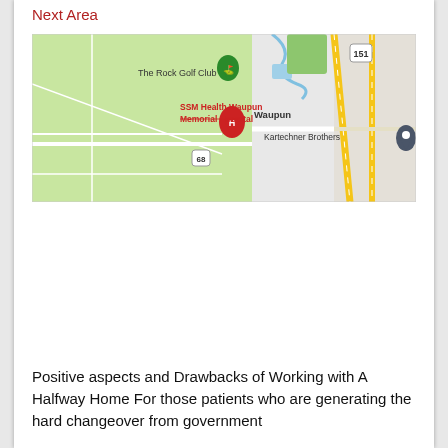Next Area
[Figure (map): Google Maps screenshot showing Waupun, Wisconsin area. Landmarks include SSM Health Waupun Memorial Hospital (marked with red H pin), The Rock Golf Club (marked with green pin), Kartechner Brothers (marked with dark pin), and highway 151 and route 68 visible. Light green rural area with roads.]
Positive aspects and Drawbacks of Working with A Halfway Home For those patients who are generating the hard changeover from government